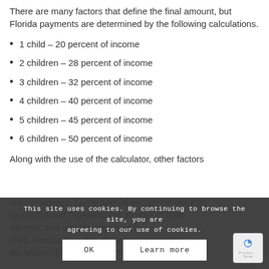There are many factors that define the final amount, but Florida payments are determined by the following calculations.
1 child – 20 percent of income
2 children – 28 percent of income
3 children – 32 percent of income
4 children – 40 percent of income
5 children – 45 percent of income
6 children – 50 percent of income
Along with the use of the calculator, other factors are considered. Some special circumstances may be considered regarding the income of both parents, and also the needs of the child. Florida may include some additional deviations. Payments may be different from the
This site uses cookies. By continuing to browse the site, you are agreeing to our use of cookies.